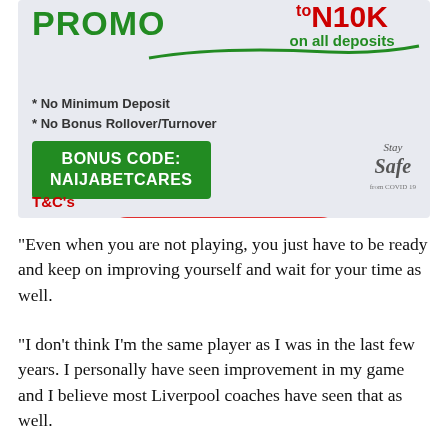[Figure (infographic): Betting promotion banner with 'PROMO' in green, 'ₜₒN10K on all deposits' in red/green speech bubble, bullet points 'No Minimum Deposit' and 'No Bonus Rollover/Turnover', green box with 'BONUS CODE: NAIJABETCARES', red rounded button 'DEPOSIT NOW', 'Stay Safe' logo, and red 'T&C's' link.]
“Even when you are not playing, you just have to be ready and keep on improving yourself and wait for your time as well.
“I don’t think I’m the same player as I was in the last few years. I personally have seen improvement in my game and I believe most Liverpool coaches have seen that as well.